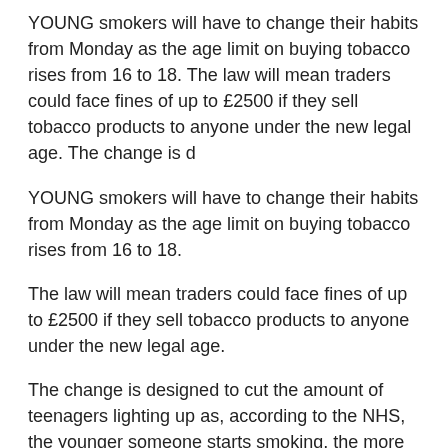YOUNG smokers will have to change their habits from Monday as the age limit on buying tobacco rises from 16 to 18. The law will mean traders could face fines of up to £2500 if they sell tobacco products to anyone under the new legal age. The change is d
YOUNG smokers will have to change their habits from Monday as the age limit on buying tobacco rises from 16 to 18.
The law will mean traders could face fines of up to £2500 if they sell tobacco products to anyone under the new legal age.
The change is designed to cut the amount of teenagers lighting up as, according to the NHS, the younger someone starts smoking, the more likely they are to be killed by their addiction.